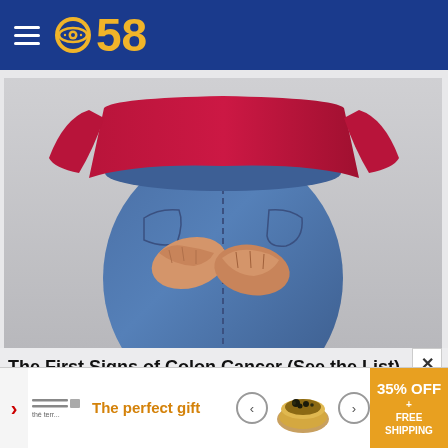CBS 58
[Figure (photo): Close-up photo of a person wearing a red long-sleeve shirt and tight blue jeans, viewed from behind, with both hands clasped over their lower back/buttocks area against a gray background.]
The First Signs of Colon Cancer (See the List)
Colon | Search Ads
[Figure (advertisement): Bottom banner ad showing 'The perfect gift' text in orange/gold with navigation arrows and a product image of a food bowl, plus a gold box showing '35% OFF + FREE SHIPPING']